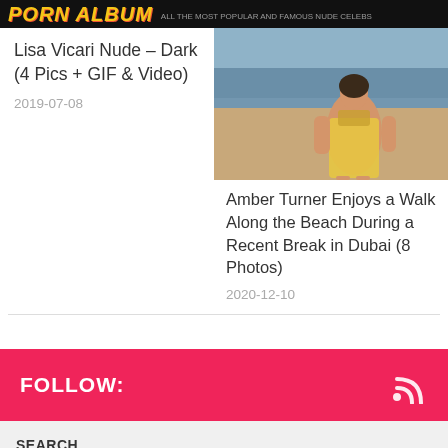PORN ALBUM
Lisa Vicari Nude – Dark (4 Pics + GIF & Video)
2019-07-08
[Figure (photo): Woman in yellow floral bikini and coverup walking on beach]
Amber Turner Enjoys a Walk Along the Beach During a Recent Break in Dubai (8 Photos)
2020-12-10
FOLLOW:
SEARCH
Search ...